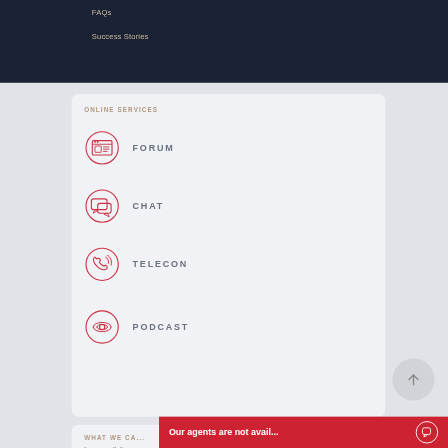FAQs
Success Stories
ONLINE SERVICES
FORUM
CHAT
TELECON
PODCAST
WHAT WE CA...
In a consultati...
Our agents are not avail...